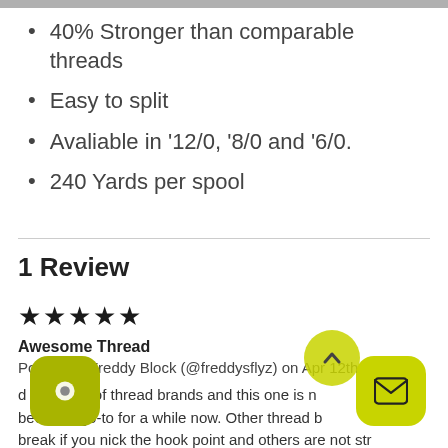40% Stronger than comparable threads
Easy to split
Avaliable in '12/0, '8/0 and '6/0.
240 Yards per spool
1 Review
★★★★★
Awesome Thread
Posted by Freddy Block (@freddysflyz) on Apr 12th 2022
d with a lot of thread brands and this one is n been my go-to for a while now. Other thread b break if you nick the hook point and others are not str enough to crank down on materials without snapping. This